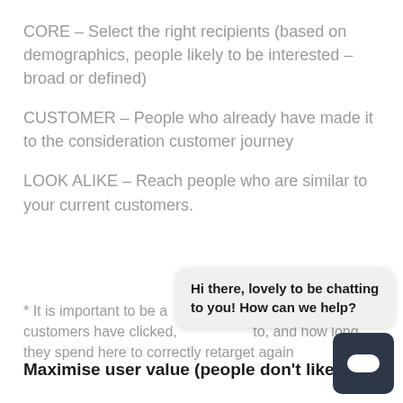CORE – Select the right recipients (based on demographics, people likely to be interested – broad or defined)
CUSTOMER – People who already have made it to the consideration customer journey
LOOK ALIKE – Reach people who are similar to your current customers.
* It is important to be a... customers have clicked, listened to, and how long they spend here to correctly retarget again
Maximise user value (people don't like looking at